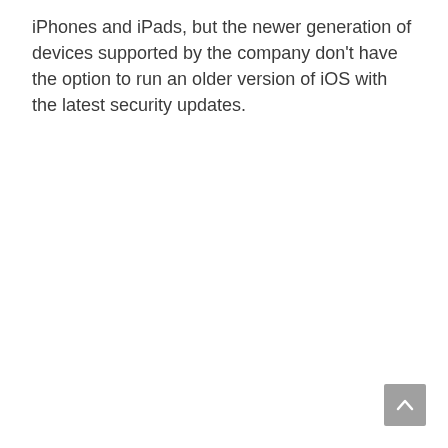iPhones and iPads, but the newer generation of devices supported by the company don't have the option to run an older version of iOS with the latest security updates.
[Figure (other): A grey rounded square button with an upward-pointing chevron arrow, used as a scroll-to-top button.]